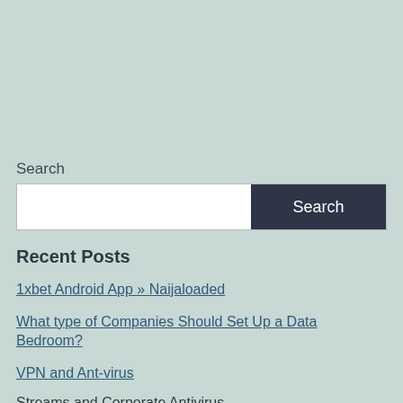Search
Search
Recent Posts
1xbet Android App » Naijaloaded
What type of Companies Should Set Up a Data Bedroom?
VPN and Ant-virus
Streams and Corporate Antivirus